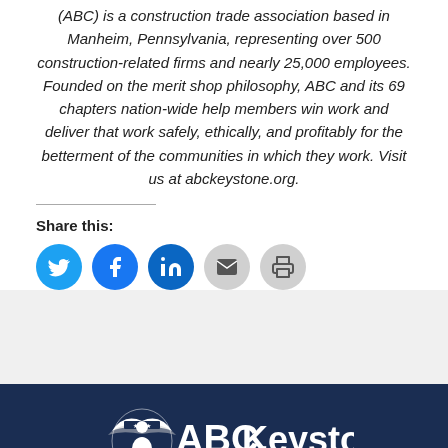(ABC) is a construction trade association based in Manheim, Pennsylvania, representing over 500 construction-related firms and nearly 25,000 employees. Founded on the merit shop philosophy, ABC and its 69 chapters nation-wide help members win work and deliver that work safely, ethically, and profitably for the betterment of the communities in which they work. Visit us at abckeystone.org.
Share this:
[Figure (infographic): Social sharing buttons: Twitter (blue), Facebook (blue), LinkedIn (blue), Email (grey), Print (grey)]
[Figure (logo): ABC Keystone logo — white text and eagle emblem on dark navy background]